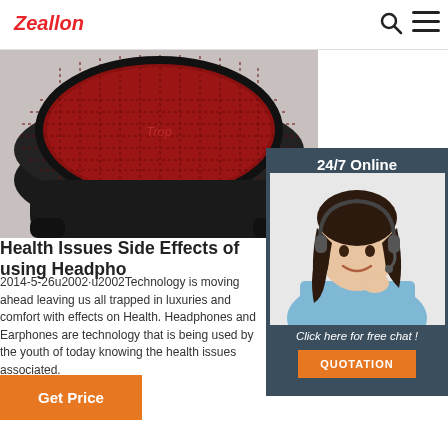Zeallon
[Figure (photo): Product photo of a black speaker/headphone cooling pad with red mesh grille, partially shown at top of page]
[Figure (photo): 24/7 Online customer support sidebar with a female agent wearing a headset, button 'Click here for free chat!' and 'QUOTATION' button]
Health Issues Side Effects of using Headpho
2014-5-26u2002·u2002Technology is moving ahead leaving us all trapped in luxuries and comfort with effects on Health. Headphones and Earphones are technology that is being used by the youth of today knowing the health issues associated.
Get Price